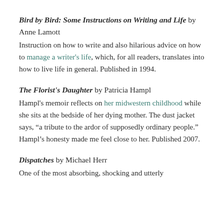Bird by Bird: Some Instructions on Writing and Life by Anne Lamott
Instruction on how to write and also hilarious advice on how to manage a writer's life, which, for all readers, translates into how to live life in general. Published in 1994.
The Florist's Daughter by Patricia Hampl
Hampl's memoir reflects on her midwestern childhood while she sits at the bedside of her dying mother. The dust jacket says, “a tribute to the ardor of supposedly ordinary people.” Hampl’s honesty made me feel close to her. Published 2007.
Dispatches by Michael Herr
One of the most absorbing, shocking and utterly